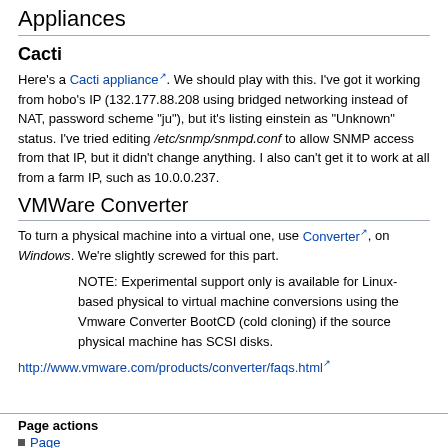Appliances
Cacti
Here's a Cacti appliance. We should play with this. I've got it working from hobo's IP (132.177.88.208 using bridged networking instead of NAT, password scheme "ju"), but it's listing einstein as "Unknown" status. I've tried editing /etc/snmp/snmpd.conf to allow SNMP access from that IP, but it didn't change anything. I also can't get it to work at all from a farm IP, such as 10.0.0.237.
VMWare Converter
To turn a physical machine into a virtual one, use Converter, on Windows. We're slightly screwed for this part.
NOTE: Experimental support only is available for Linux-based physical to virtual machine conversions using the Vmware Converter BootCD (cold cloning) if the source physical machine has SCSI disks.
http://www.vmware.com/products/converter/faqs.html
Page actions
• Page